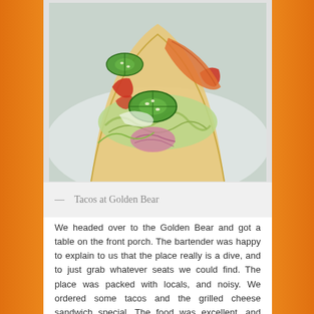[Figure (photo): Close-up photo of a taco with jalapeño slices, pickled red onions, shredded cabbage, red peppers, and orange sauce in a flour tortilla, on a white plate]
— Tacos at Golden Bear
We headed over to the Golden Bear and got a table on the front porch.  The bartender was happy to explain to us that the place really is a dive, and to just grab whatever seats we could find.  The place was packed with locals, and noisy.  We ordered some tacos and the grilled cheese sandwich special.  The food was excellent, and everyone seemed to be having a great time.  The staff was friendly, and it looks like a great local spot to go for drinks and good times (especially if you're into dives).